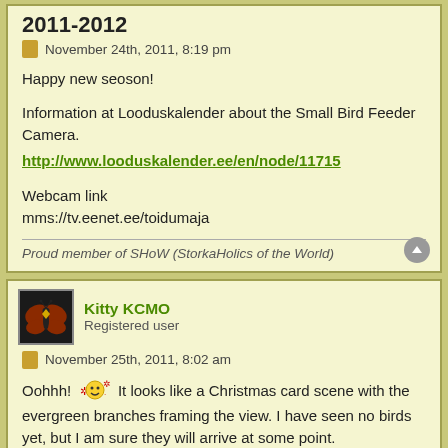2011-2012
November 24th, 2011, 8:19 pm
Happy new seoson!
Information at Looduskalender about the Small Bird Feeder Camera.
http://www.looduskalender.ee/en/node/11715
Webcam link
mms://tv.eenet.ee/toidumaja
Proud member of SHoW (StorkaHolics of the World)
Kitty KCMO
Registered user
November 25th, 2011, 8:02 am
Oohhh! [emoji] It looks like a Christmas card scene with the evergreen branches framing the view. I have seen no birds yet, but I am sure they will arrive at some point.